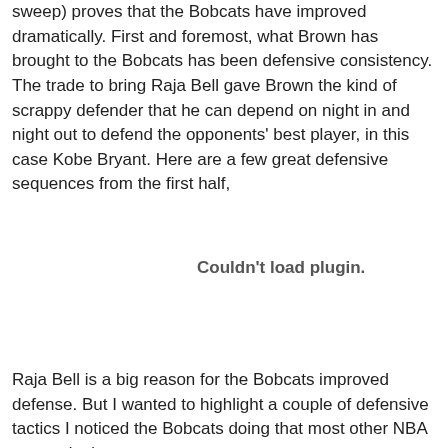sweep) proves that the Bobcats have improved dramatically. First and foremost, what Brown has brought to the Bobcats has been defensive consistency. The trade to bring Raja Bell gave Brown the kind of scrappy defender that he can depend on night in and night out to defend the opponents' best player, in this case Kobe Bryant. Here are a few great defensive sequences from the first half,
[Figure (other): Embedded plugin/video area showing 'Couldn't load plugin.' message]
Raja Bell is a big reason for the Bobcats improved defense. But I wanted to highlight a couple of defensive tactics I noticed the Bobcats doing that most other NBA teams don't